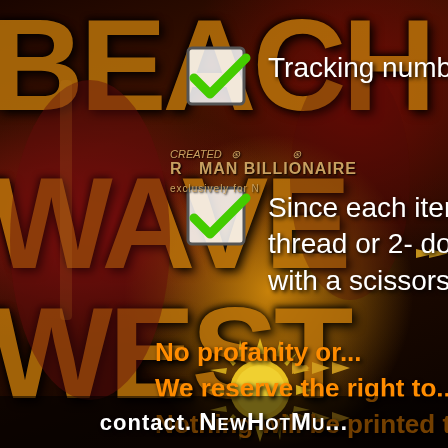[Figure (illustration): Dark themed background with gold 'BEACH' and 'WAVE WEST' large text letters, sun graphic, decorative arrows, and a background game/anime art style image]
Tracking number
Since each item i... thread or 2- do No... with a scissors. D...
CREATED by ROMAN BILLIONAIRE exclusively for N...
No profanity or...
We reserve the right to...
Nothing will be printed that je...
contact. NewHotMu...